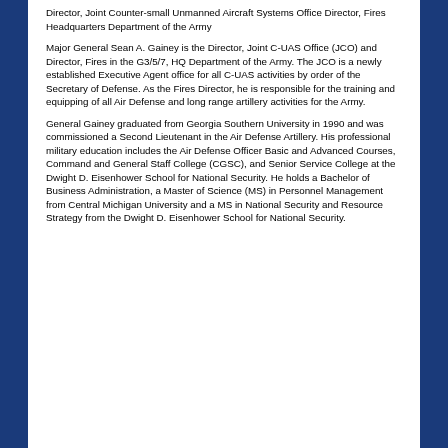Director, Joint Counter-small Unmanned Aircraft Systems Office Director, Fires Headquarters Department of the Army
Major General Sean A. Gainey is the Director, Joint C-UAS Office (JCO) and Director, Fires in the G3/5/7, HQ Department of the Army. The JCO is a newly established Executive Agent office for all C-UAS activities by order of the Secretary of Defense. As the Fires Director, he is responsible for the training and equipping of all Air Defense and long range artillery activities for the Army.
General Gainey graduated from Georgia Southern University in 1990 and was commissioned a Second Lieutenant in the Air Defense Artillery. His professional military education includes the Air Defense Officer Basic and Advanced Courses, Command and General Staff College (CGSC), and Senior Service College at the Dwight D. Eisenhower School for National Security. He holds a Bachelor of Business Administration, a Master of Science (MS) in Personnel Management from Central Michigan University and a MS in National Security and Resource Strategy from the Dwight D. Eisenhower School for National Security.